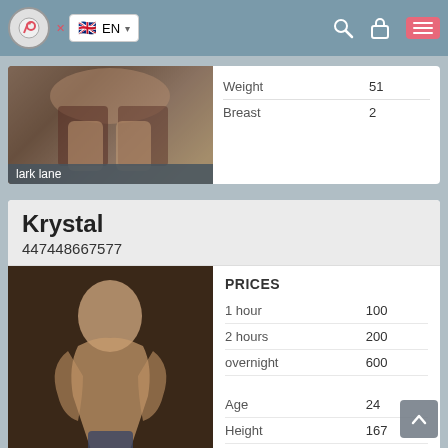EN — navigation bar with logo, language selector, search, lock, and menu icons
[Figure (photo): Partial view of a person's lower body in lingerie, partial card for 'lark lane']
|  |  |
| --- | --- |
| Weight | 51 |
| Breast | 2 |
lark lane
Krystal
447448667577
[Figure (photo): Woman with blonde hair posing in dark blue shorts against dark background]
| PRICES |  |
| --- | --- |
| 1 hour | 100 |
| 2 hours | 200 |
| overnight | 600 |
| Age | 24 |
| Height | 167 |
| Weight | 50 |
| Breast | 2 |
chinatown